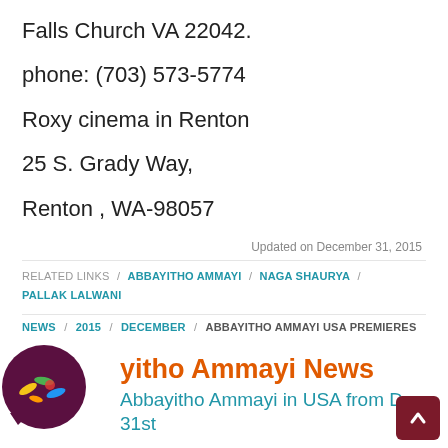Falls Church VA 22042.
phone: (703) 573-5774
Roxy cinema in Renton
25 S. Grady Way,
Renton , WA-98057
Updated on December 31, 2015
RELATED LINKS / ABBAYITHO AMMAYI / NAGA SHAURYA / PALLAK LALWANI
NEWS / 2015 / DECEMBER / ABBAYITHO AMMAYI USA PREMIERES
[Figure (logo): Circular logo with dark purple/maroon background and colorful banana/fruit graphics inside a speech bubble shape]
yitho Ammayi News
Abbayitho Ammayi in USA from Dec 31st
'Abbayitho Ammayi' business done
Abbayitho Ammayi audio release on November